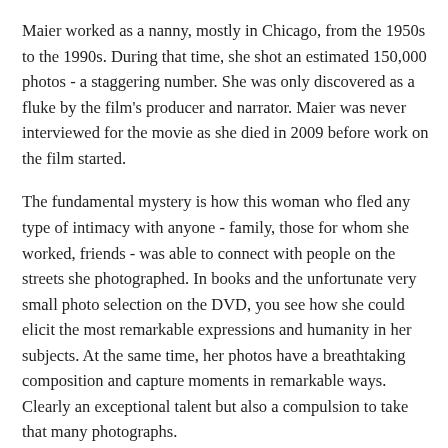Maier worked as a nanny, mostly in Chicago, from the 1950s to the 1990s. During that time, she shot an estimated 150,000 photos - a staggering number. She was only discovered as a fluke by the film's producer and narrator. Maier was never interviewed for the movie as she died in 2009 before work on the film started.
The fundamental mystery is how this woman who fled any type of intimacy with anyone - family, those for whom she worked, friends - was able to connect with people on the streets she photographed. In books and the unfortunate very small photo selection on the DVD, you see how she could elicit the most remarkable expressions and humanity in her subjects. At the same time, her photos have a breathtaking composition and capture moments in remarkable ways. Clearly an exceptional talent but also a compulsion to take that many photographs.
I would have preferred seeing more of her work and her progression over the years. The best we get is examples throughout the film with minimal or no reference to when the photo was taken. Some of the